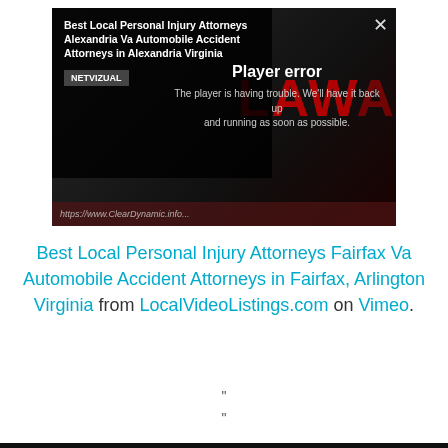[Figure (screenshot): Video player screenshot showing a player error overlay on a dark video background with red text 'LAWA' visible. Overlay shows title 'Best Local Personal Injury Attorneys Alexandria Va Automobile Accident Attorneys in Alexandria Virginia', NETVIZUAL badge, and 'Player error' message: 'The player is having trouble. We'll have it back up and running as soon as possible.' A URL bar at the bottom shows a partially visible URL. An X close button is in the top right.]
Best Local Personal Injury Attorneys Fairfax Va Automobile Accident Attorneys in Fairfax, Arlington Virginia from LocalVideoListings.com on Vimeo.
”
”